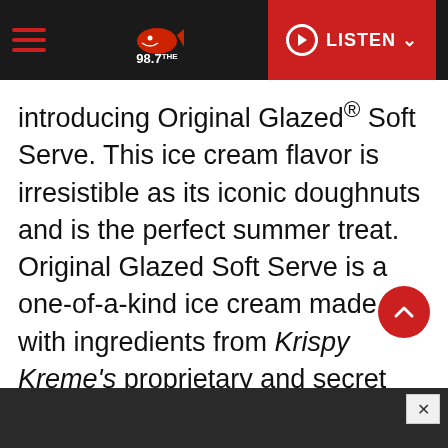98.7 The Shark — Navigation bar with hamburger menu and LISTEN button
introducing Original Glazed® Soft Serve. This ice cream flavor is irresistible as its iconic doughnuts and is the perfect summer treat. Original Glazed Soft Serve is a one-of-a-kind ice cream made with ingredients from Krispy Kreme's proprietary and secret Original Glazed Doughnut recipe, including its iconic glaze flavor, as well as real whole milk. Krispy Kreme is testing this new treat in its original 10 U.S. markets, thankfully Tampa and St. Pete are one of them!